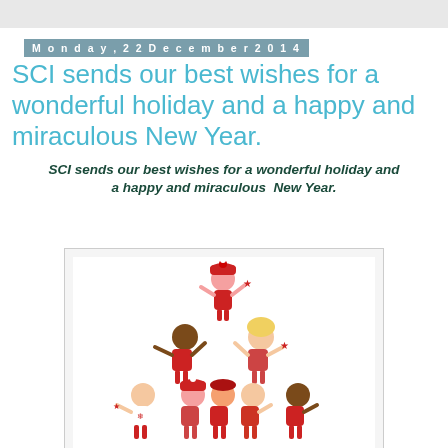Monday, 22 December 2014
SCI sends our best wishes for a wonderful holiday and a happy and miraculous New Year.
SCI sends our best wishes for a wonderful holiday and a happy and miraculous  New Year.
[Figure (illustration): Cartoon illustration of diverse children stacked in a pyramid/Christmas tree shape, all wearing red holiday outfits and winter hats]